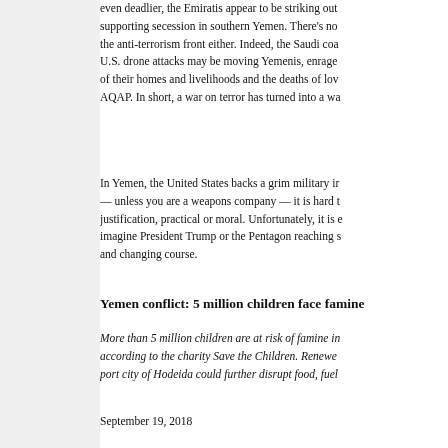even deadlier, the Emiratis appear to be striking out supporting secession in southern Yemen. There's no the anti-terrorism front either. Indeed, the Saudi coa U.S. drone attacks may be moving Yemenis, enrage of their homes and livelihoods and the deaths of lo AQAP. In short, a war on terror has turned into a wa
In Yemen, the United States backs a grim military i — unless you are a weapons company — it is hard t justification, practical or moral. Unfortunately, it is imagine President Trump or the Pentagon reaching s and changing course.
Yemen conflict: 5 million children face famine
More than 5 million children are at risk of famine in according to the charity Save the Children. Renewe port city of Hodeida could further disrupt food, fuel
September 19, 2018